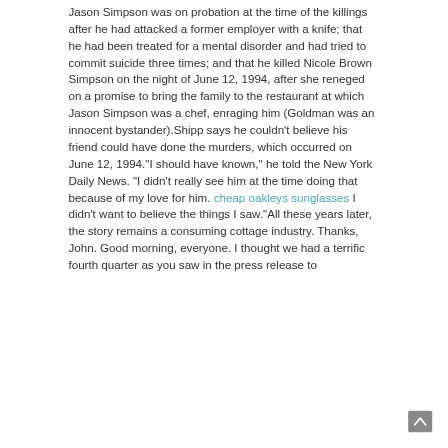Jason Simpson was on probation at the time of the killings after he had attacked a former employer with a knife; that he had been treated for a mental disorder and had tried to commit suicide three times; and that he killed Nicole Brown Simpson on the night of June 12, 1994, after she reneged on a promise to bring the family to the restaurant at which Jason Simpson was a chef, enraging him (Goldman was an innocent bystander).Shipp says he couldn't believe his friend could have done the murders, which occurred on June 12, 1994."I should have known," he told the New York Daily News. "I didn't really see him at the time doing that because of my love for him. cheap oakleys sunglasses I didn't want to believe the things I saw."All these years later, the story remains a consuming cottage industry. Thanks, John. Good morning, everyone. I thought we had a terrific fourth quarter as you saw in the press release to